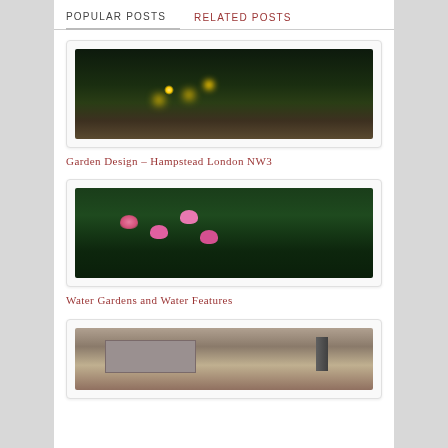POPULAR POSTS   RELATED POSTS
[Figure (photo): Nighttime garden with uplighting illuminating plants and trees, dark atmospheric garden scene]
Garden Design – Hampstead London NW3
[Figure (photo): Water garden with pink water lilies and lily pads floating on dark green water]
Water Gardens and Water Features
[Figure (photo): Stone garden feature with raised planters and water element, partially visible at bottom of page]